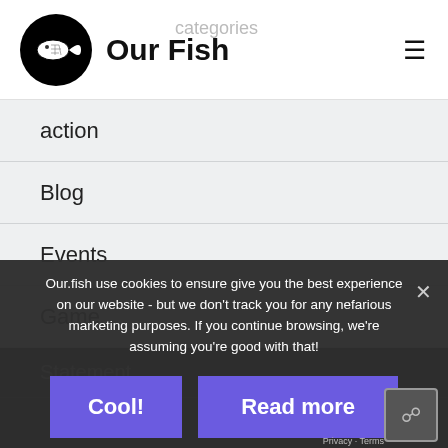[Figure (logo): Our Fish logo - black circle with fish icon and text 'Our Fish']
categories
action
Blog
Events
Game
Statement
Video
Video
Our.fish use cookies to ensure give you the best experience on our website - but we don't track you for any nefarious marketing purposes. If you continue browsing, we're assuming you're good with that!
Cool!
Read more